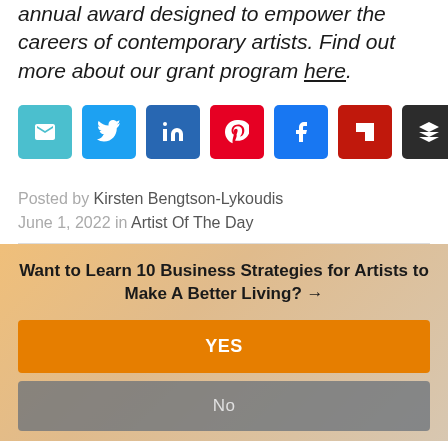annual award designed to empower the careers of contemporary artists. Find out more about our grant program here.
[Figure (other): Social media share buttons: email (cyan), Twitter (blue), LinkedIn (dark blue), Pinterest (red), Facebook (blue), Flipboard (dark red), Buffer (dark gray)]
Posted by Kirsten Bengtson-Lykoudis June 1, 2022 in Artist Of The Day
Want to Learn 10 Business Strategies for Artists to Make A Better Living? →
YES
No